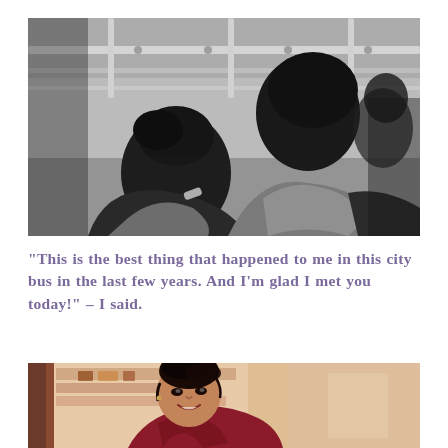[Figure (photo): Black and white photo of two people sitting close together on a city bus, viewed from behind/above. One person has dark hair pulled back, the other is in a light shirt. The bus interior with metal rails is visible in the background.]
“This is the best thing that happened to me in this city bus in the last few years. And I’m glad I met you today!” – I said.
[Figure (photo): Color photo of a smiling young woman with dark hair pulled up, wearing a red/maroon outfit, photographed in a warm indoor setting with a soft blurred background.]